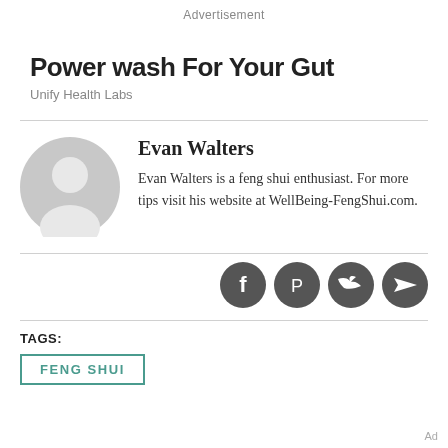Advertisement
Power wash For Your Gut
Unify Health Labs
Evan Walters
Evan Walters is a feng shui enthusiast. For more tips visit his website at WellBeing-FengShui.com.
[Figure (illustration): Gray circular avatar placeholder with silhouette of a person]
[Figure (infographic): Row of four dark gray social media icon buttons: Facebook, Pinterest, Twitter, Telegram]
TAGS:
FENG SHUI
Ad